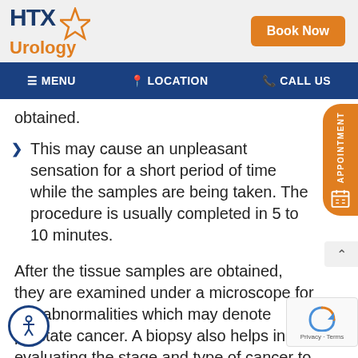HTX Urology | Book Now
MENU | LOCATION | CALL US
obtained.
This may cause an unpleasant sensation for a short period of time while the samples are being taken. The procedure is usually completed in 5 to 10 minutes.
After the tissue samples are obtained, they are examined under a microscope for cell abnormalities which may denote prostate cancer. A biopsy also helps in evaluating the stage and type of cancer to assist in formulating the most appropriate treatment option.